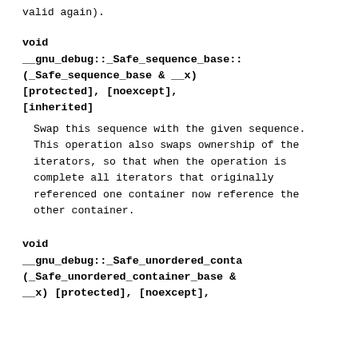valid again).
void
__gnu_debug::_Safe_sequence_base::(_Safe_sequence_base & __x) [protected], [noexcept], [inherited]
Swap this sequence with the given sequence. This operation also swaps ownership of the iterators, so that when the operation is complete all iterators that originally referenced one container now reference the other container.
void
__gnu_debug::_Safe_unordered_conta(_Safe_unordered_container_base & __x) [protected], [noexcept],